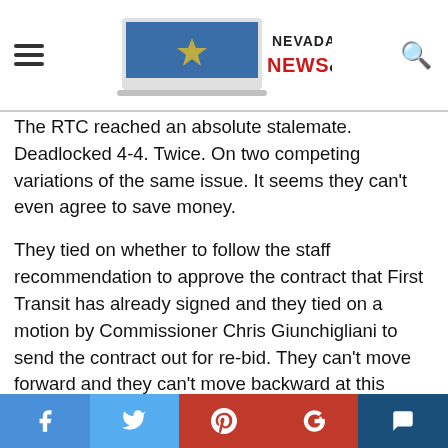Nevada News & Views
The RTC reached an absolute stalemate. Deadlocked 4-4. Twice. On two competing variations of the same issue. It seems they can't even agree to save money.
They tied on whether to follow the staff recommendation to approve the contract that First Transit has already signed and they tied on a motion by Commissioner Chris Giunchigliani to send the contract out for re-bid. They can't move forward and they can't move backward at this point.
Right now, Veolia has the contract to provide bus service to Clark County. The company has had that contract for well over a decade but after a series of extensions and
Facebook Twitter Pinterest Google+ Comment